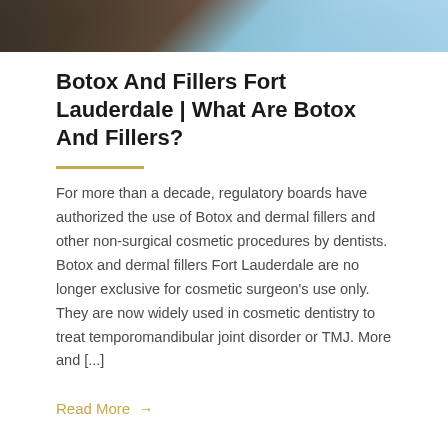[Figure (photo): Partial photo of a person in a blue medical/dental setting, cropped at the top of the page]
Botox And Fillers Fort Lauderdale | What Are Botox And Fillers?
For more than a decade, regulatory boards have authorized the use of Botox and dermal fillers and other non-surgical cosmetic procedures by dentists. Botox and dermal fillers Fort Lauderdale are no longer exclusive for cosmetic surgeon's use only. They are now widely used in cosmetic dentistry to treat temporomandibular joint disorder or TMJ. More and [...]
Read More  →